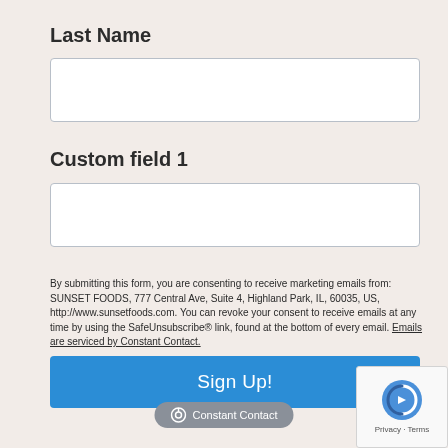Last Name
[Figure (other): Empty text input field for Last Name]
Custom field 1
[Figure (other): Empty text input field for Custom field 1]
By submitting this form, you are consenting to receive marketing emails from: SUNSET FOODS, 777 Central Ave, Suite 4, Highland Park, IL, 60035, US, http://www.sunsetfoods.com. You can revoke your consent to receive emails at any time by using the SafeUnsubscribe® link, found at the bottom of every email. Emails are serviced by Constant Contact.
[Figure (other): Sign Up! button - blue rectangular button]
[Figure (logo): Constant Contact badge/logo at bottom center]
[Figure (other): reCAPTCHA widget box at bottom right with Privacy and Terms links]